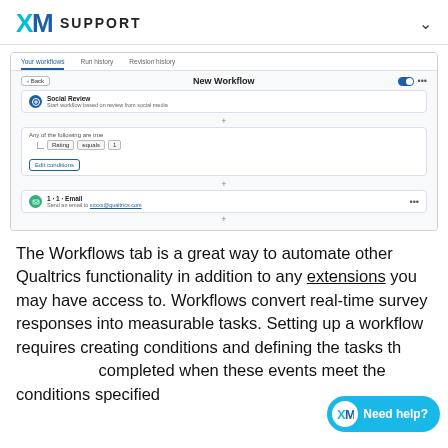XM SUPPORT
[Figure (screenshot): Qualtrics Workflows UI screenshot showing 'New Workflow' with tabs: Your workflows, Run history, Revision history. Contains a Social Review trigger card, a condition block (Any of the following are true: Rating equals 1), an Edit conditions button, and a 1-1 Email task card (Send an email to [email]@qualtrics.com).]
The Workflows tab is a great way to automate other Qualtrics functionality in addition to any extensions you may have access to. Workflows convert real-time survey responses into measurable tasks. Setting up a workflow requires creating conditions and defining the tasks that need to be completed when these events meet the conditions specified